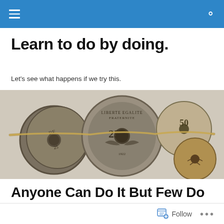Learn to do by doing.
Let's see what happens if we try this.
[Figure (photo): Close-up photograph of antique coins with holes, strung together on twine/rope. Coins include French franc pieces with 'LIBERTE EGALITE FRATERNITE' and '25' visible, and Japanese coins, on a light background.]
Anyone Can Do It But Few Do It Well
Follow